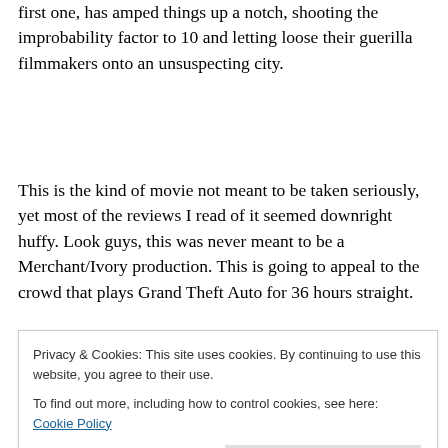first one, has amped things up a notch, shooting the improbability factor to 10 and letting loose their guerilla filmmakers onto an unsuspecting city.
This is the kind of movie not meant to be taken seriously, yet most of the reviews I read of it seemed downright huffy. Look guys, this was never meant to be a Merchant/Ivory production. This is going to appeal to the crowd that plays Grand Theft Auto for 36 hours straight.
Privacy & Cookies: This site uses cookies. By continuing to use this website, you agree to their use. To find out more, including how to control cookies, see here: Cookie Policy
Close and accept
crowd that plays Grand Theft Auto for 36 hours straight,